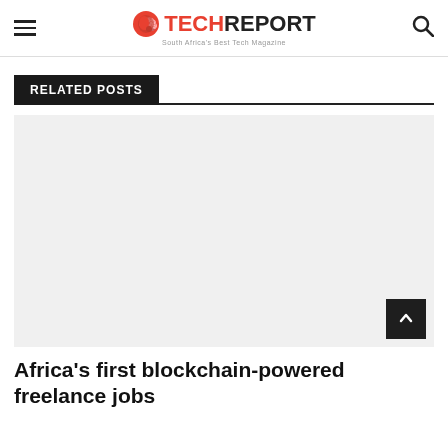TECHREPORT South Africa's Best Tech Magazine
RELATED POSTS
[Figure (photo): Light gray placeholder image for a related post card]
Africa's first blockchain-powered freelance jobs